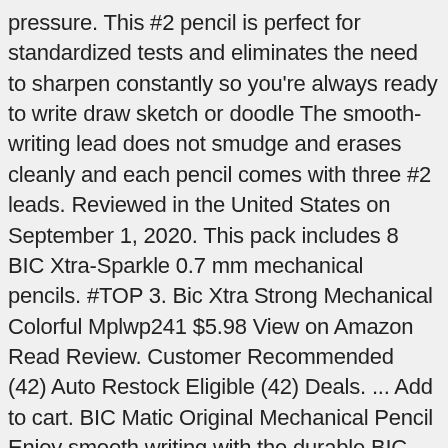pressure. This #2 pencil is perfect for standardized tests and eliminates the need to sharpen constantly so you're always ready to write draw sketch or doodle The smooth-writing lead does not smudge and erases cleanly and each pencil comes with three #2 leads. Reviewed in the United States on September 1, 2020. This pack includes 8 BIC Xtra-Sparkle 0.7 mm mechanical pencils. #TOP 3. Bic Xtra Strong Mechanical Colorful Mplwp241 $5.98 View on Amazon Read Review. Customer Recommended (42) Auto Restock Eligible (42) Deals. ... Add to cart. BIC Matic Original Mechanical Pencil Enjoy smooth writing with the durable BIC Matic Original mechanical pencil. 5/Pack. If you want a really nice pencil, its obviously nothing to write home about. Mechanical Pencil 0.9 mm, Black, 5 Pack. BIC #2 Mechanical Pencil, Medium Point (0.5mm), 5-Count With Large Pink Eraser: Amazon.sg: Office & School Supplies Add to Cart. Well designed, manufacture writing instruments. Pen Pencil Top Erasers, Cap Erasers, 120 Pack. Serious about safety. Compare. There's a problem loading this menu right now. I have